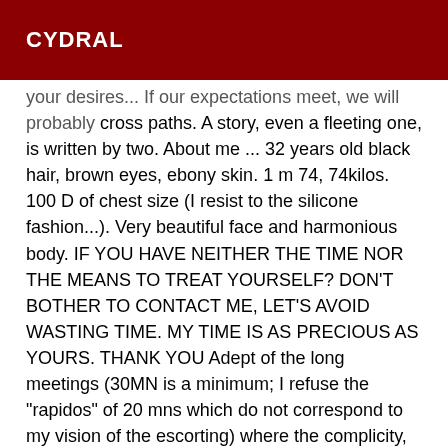CYDRAL
your desires... If our expectations meet, we will probably cross paths. A story, even a fleeting one, is written by two. About me ... 32 years old black hair, brown eyes, ebony skin. 1 m 74, 74kilos. 100 D of chest size (I resist to the silicone fashion...). Very beautiful face and harmonious body. IF YOU HAVE NEITHER THE TIME NOR THE MEANS TO TREAT YOURSELF? DON'T BOTHER TO CONTACT ME, LET'S AVOID WASTING TIME. MY TIME IS AS PRECIOUS AS YOURS. THANK YOU Adept of the long meetings (30MN is a minimum; I refuse the "rapidos" of 20 mns which do not correspond to my vision of the escorting) where the complicity, favourable with the shared pleasures, will have all leisure to express itself! I like convivial, relaxed meetings, where nobody plays a role (poor actress, I remain myself), rather on the mode "girlfriend-lover". I am spontaneous, I appreciate the authentic and